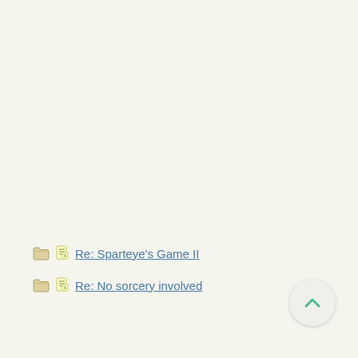Re: Sparteye's Game II
Re: No sorcery involved